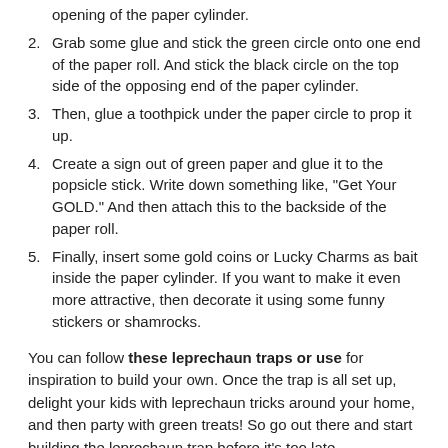opening of the paper cylinder.
2. Grab some glue and stick the green circle onto one end of the paper roll. And stick the black circle on the top side of the opposing end of the paper cylinder.
3. Then, glue a toothpick under the paper circle to prop it up.
4. Create a sign out of green paper and glue it to the popsicle stick. Write down something like, "Get Your GOLD." And then attach this to the backside of the paper roll.
5. Finally, insert some gold coins or Lucky Charms as bait inside the paper cylinder. If you want to make it even more attractive, then decorate it using some funny stickers or shamrocks.
You can follow these leprechaun traps or use for inspiration to build your own. Once the trap is all set up, delight your kids with leprechaun tricks around your home, and then party with green treats! So go out there and start building the leprechaun trap before it's too late.